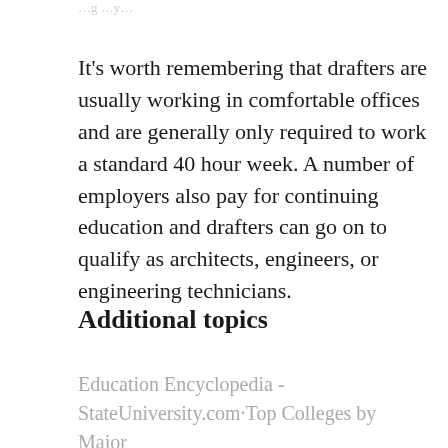…g …y…
It's worth remembering that drafters are usually working in comfortable offices and are generally only required to work a standard 40 hour week. A number of employers also pay for continuing education and drafters can go on to qualify as architects, engineers, or engineering technicians.
Additional topics
Education Encyclopedia - StateUniversity.com·Top Colleges by Major